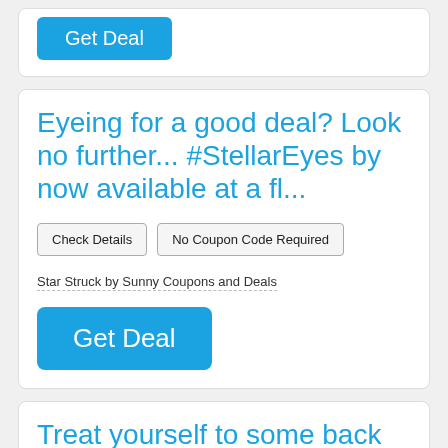[Figure (screenshot): Top card partial showing a cyan 'Get Deal' button]
Eyeing for a good deal? Look no further... #StellarEyes by now available at a fl...
Check Details   No Coupon Code Required
Star Struck by Sunny Coupons and Deals
Get Deal
Treat yourself to some back digital issues of DWM for only £1.99 each! Head to ...